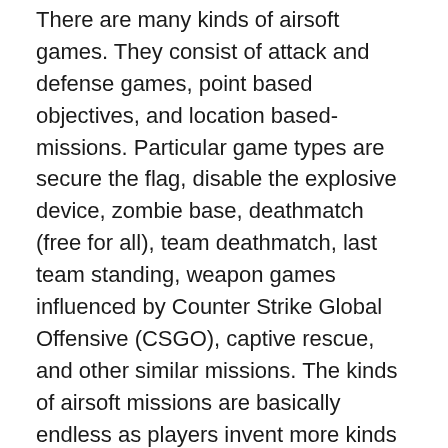There are many kinds of airsoft games. They consist of attack and defense games, point based objectives, and location based-missions. Particular game types are secure the flag, disable the explosive device, zombie base, deathmatch (free for all), team deathmatch, last team standing, weapon games influenced by Counter Strike Global Offensive (CSGO), captive rescue, and other similar missions. The kinds of airsoft missions are basically endless as players invent more kinds all the time.
What Is Military Simulation Airsoft? – Enid, OK
Milsim is common in Enid, OK. Military simulation